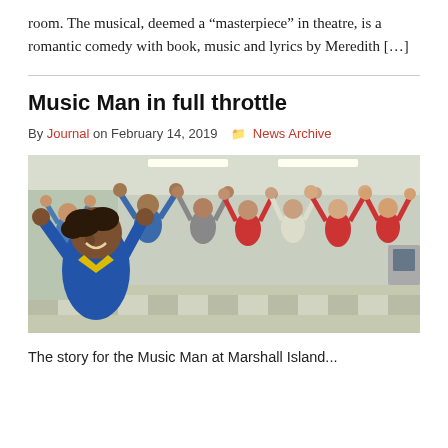room. The musical, deemed a “masterpiece” in theatre, is a romantic comedy with book, music and lyrics by Meredith […]
Music Man in full throttle
By Journal on February 14, 2019   News Archive
[Figure (photo): Group of children and adults in a room with arms raised up joyfully, appearing to rehearse or perform. A boy in a blue shirt is in the foreground smiling.]
The story for the Music Man at Marshall Island...